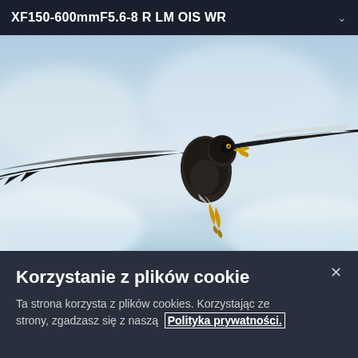XF150-600mmF5.6-8 R LM OIS WR
[Figure (photo): An eagle in flight with wings fully spread, photographed head-on against a blurred snowy/icy background. The eagle has dark brown/black plumage, yellow beak, and yellow talons visible.]
Korzystanie z plików cookie
Ta strona korzysta z plików cookies. Korzystając ze strony, zgadzasz się z naszą  Polityka prywatności.